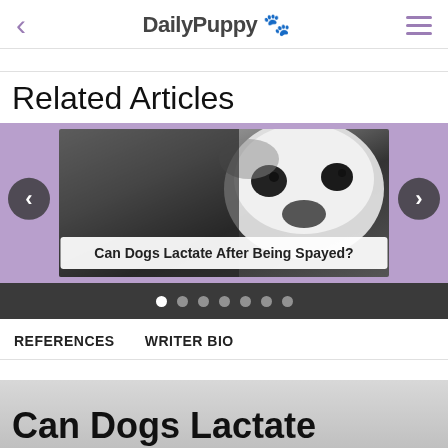DailyPuppy 🐾
Related Articles
[Figure (screenshot): Carousel showing a close-up black and white photo of a French Bulldog's face, with left and right navigation arrows. Caption: 'Can Dogs Lactate After Being Spayed?'. Seven pagination dots below on dark bar.]
REFERENCES   WRITER BIO
Can Dogs Lactate